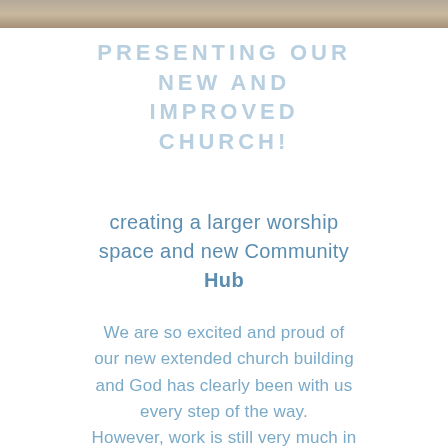[Figure (photo): Top strip showing a partial photo of a wooden or earthy surface, cropped at the top of the page]
PRESENTING OUR NEW AND IMPROVED CHURCH!
creating a larger worship space and new Community Hub
We are so excited and proud of our new extended church building and God has clearly been with us every step of the way. However, work is still very much in progress due to the knock backs